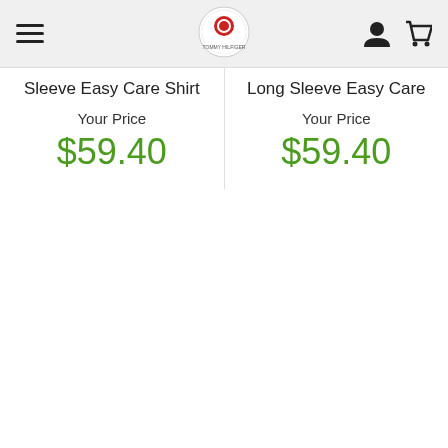Navigation bar with hamburger menu, logo, user icon, and cart icon
Sleeve Easy Care Shirt
Your Price
$59.40
Long Sleeve Easy Care
Your Price
$59.40